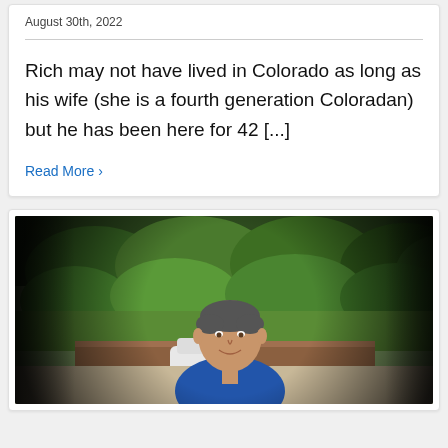August 30th, 2022
Rich may not have lived in Colorado as long as his wife (she is a fourth generation Coloradan) but he has been here for 42 [...]
Read More ›
[Figure (photo): A man in a blue shirt smiling outdoors, with green trees and a parking area in the background. The photo has a dark vignette border effect.]